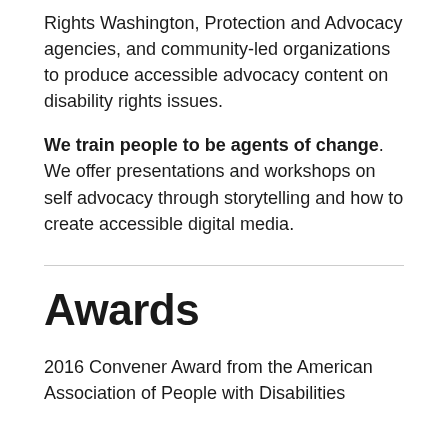Rights Washington, Protection and Advocacy agencies, and community-led organizations to produce accessible advocacy content on disability rights issues.
We train people to be agents of change. We offer presentations and workshops on self advocacy through storytelling and how to create accessible digital media.
Awards
2016 Convener Award from the American Association of People with Disabilities